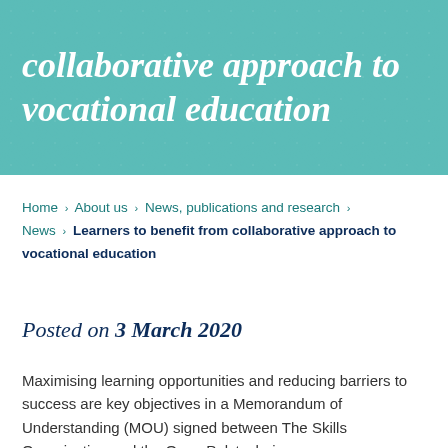collaborative approach to vocational education
Home > About us > News, publications and research > News > Learners to benefit from collaborative approach to vocational education
Posted on 3 March 2020
Maximising learning opportunities and reducing barriers to success are key objectives in a Memorandum of Understanding (MOU) signed between The Skills Organisation and the Open Polytechnic.